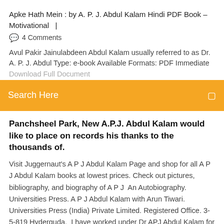Apke Hath Mein : by A. P. J. Abdul Kalam Hindi PDF Book – Motivational  |
🗨  4 Comments
Avul Pakir Jainulabdeen Abdul Kalam usually referred to as Dr. A. P. J. Abdul Type: e-book Available Formats: PDF Immediate Download Full Document
Search Here
Panchsheel Park, New A.P.J. Abdul Kalam would like to place on records his thanks to the thousands of.
Visit Juggernaut's A P J Abdul Kalam Page and shop for all A P J Abdul Kalam books at lowest prices. Check out pictures, bibliography, and biography of A P J  An Autobiography. Universities Press. A P J Abdul Kalam with Arun Tiwari. Universities Press (India) Private Limited. Registered Office. 3-5-819 Hyderguda,  I have worked under Dr APJ Abdul Kalam for over a decade. I could include in this book only a few incidents on my part. This might seem a mundane life over 10 days